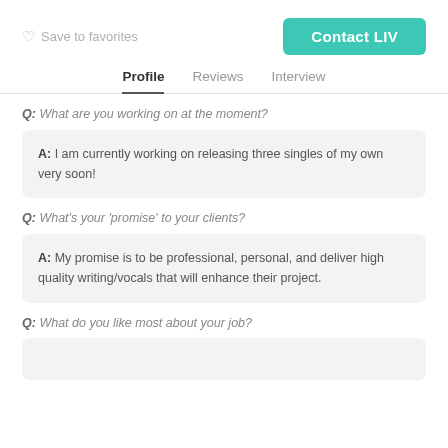Save to favorites   Contact LIV
Profile   Reviews   Interview
Q: What are you working on at the moment?
A: I am currently working on releasing three singles of my own very soon!
Q: What's your 'promise' to your clients?
A: My promise is to be professional, personal, and deliver high quality writing/vocals that will enhance their project.
Q: What do you like most about your job?